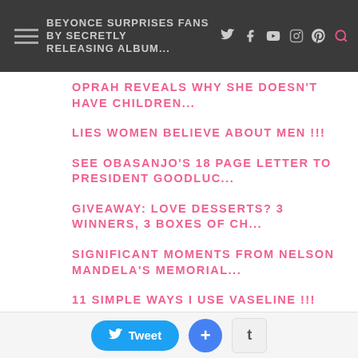BEYONCE SURPRISES FANS BY SECRETLY RELEASING ALBUM...
OPRAH REVEALS WHY SHE DOESN'T HAVE CHILDREN...
LIES WOMEN BELIEVE ABOUT MEN !!!
SEE OBASANJO'S 18 PAGE LETTER TO PRESIDENT GOODLUC...
GIVEAWAY: LOVE DESSERTS? 3 WINNERS, 3 BOXES OF CH...
SIGNIFICANT MOMENTS FROM NELSON MANDELA'S MEMORIAL...
11 SIMPLE WAYS I USE VASELINE !!!
MONDAY CHIT-CHAT: WEDDINGS, BIRTHDAYS AND EMPOWERM...
DONATION DRIVE FOR DECEMBER:
Tweet  +  t